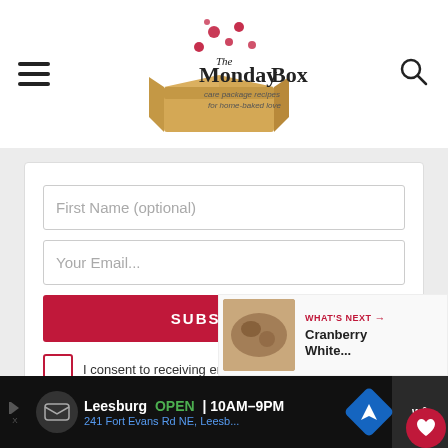The Monday Box — care package recipes for home-baked love
First Name (optional)
Your Email...
SUBSCRIBE
I consent to receiving emails and personalized ads.
WHAT'S NEXT → Cranberry White...
Leesburg OPEN 10AM–9PM 241 Fort Evans Rd NE, Leesb...